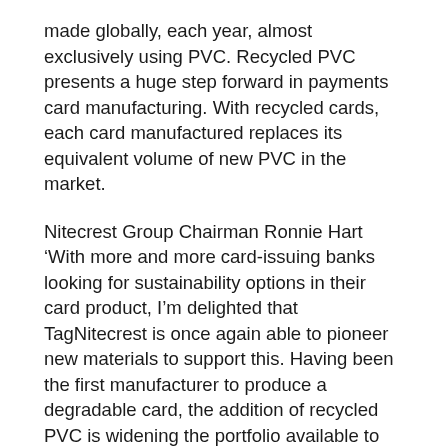made globally, each year, almost exclusively using PVC. Recycled PVC presents a huge step forward in payments card manufacturing. With recycled cards, each card manufactured replaces its equivalent volume of new PVC in the market.
Nitecrest Group Chairman Ronnie Hart ‘With more and more card-issuing banks looking for sustainability options in their card product, I’m delighted that TagNitecrest is once again able to pioneer new materials to support this. Having been the first manufacturer to produce a degradable card, the addition of recycled PVC is widening the portfolio available to our clients’
A recycled PVC card uses material that has been recovered and transformed for reuse. The first recycled PVC cards with be available in the market in early 2021, with one UK bank already starting production with TagNitecrest.